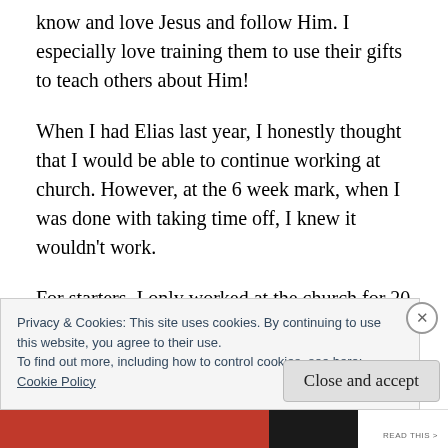know and love Jesus and follow Him. I especially love training them to use their gifts to teach others about Him!
When I had Elias last year, I honestly thought that I would be able to continue working at church. However, at the 6 week mark, when I was done with taking time off, I knew it wouldn't work.
For starters. I only worked at the church for 20
Privacy & Cookies: This site uses cookies. By continuing to use this website, you agree to their use.
To find out more, including how to control cookies, see here:
Cookie Policy
Close and accept